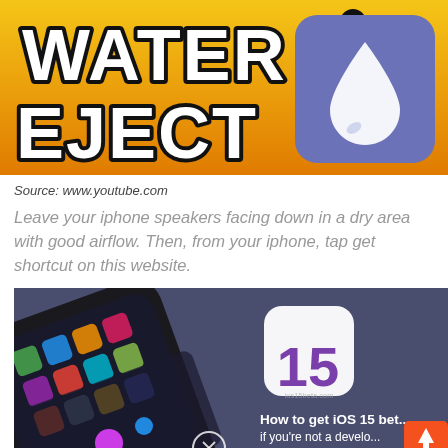[Figure (illustration): Water Eject app banner with yellow/orange background, bold white text reading WATER EJECT with X symbols, and a purple/blue rounded square icon with a white water drop on the right.]
Source: www.youtube.com
Leave your iphone speakers facing down in a dry area with good airflow. Then, from your iphone, tap get shortcut on this website.
[Figure (screenshot): iOS 15 beta promotional image with dark blue/gray background showing an iPhone with control center open, a white rounded square icon with the number 15 in purple gradient, text reading 'How to get iOS 15 beta if you're not a developer' and 'ios15beta.com', with a red/orange up-arrow button overlay at bottom right.]